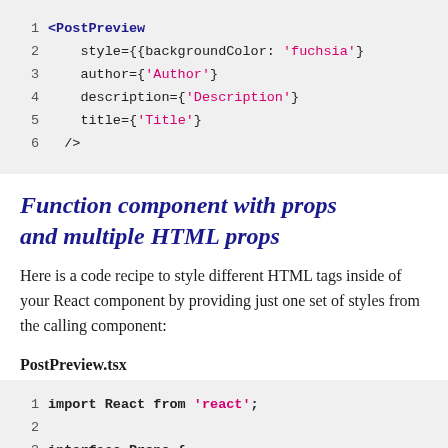[Figure (screenshot): Code block showing JSX with PostPreview component, lines 1-6, with syntax highlighting. Line 1: <PostPreview, Line 2: style={{backgroundColor: 'fuchsia'}, Line 3: author={'Author'}, Line 4: description={'Description'}, Line 5: title={'Title'}, Line 6: />]
Function component with props and multiple HTML props
Here is a code recipe to style different HTML tags inside of your React component by providing just one set of styles from the calling component:
PostPreview.tsx
[Figure (screenshot): Code block for PostPreview.tsx, lines 1-3. Line 1: import React from 'react'; Line 2: (blank), Line 3: interface Props {]